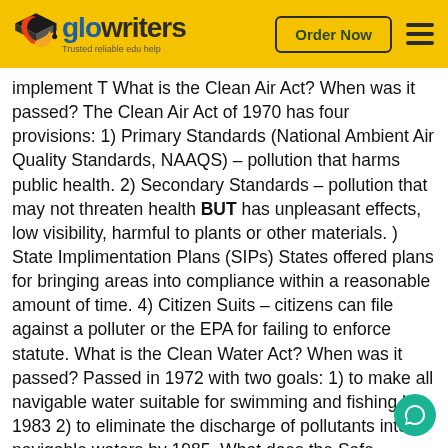[Figure (logo): Glowriters logo with graduation cap icon, yellow header bar with 'Order Now' button and hamburger menu]
implement T What is the Clean Air Act? When was it passed? The Clean Air Act of 1970 has four provisions: 1) Primary Standards (National Ambient Air Quality Standards, NAAQS) – pollution that harms public health. 2) Secondary Standards – pollution that may not threaten health BUT has unpleasant effects, low visibility, harmful to plants or other materials. ) State Implimentation Plans (SIPs) States offered plans for bringing areas into compliance within a reasonable amount of time. 4) Citizen Suits – citizens can file against a polluter or the EPA for failing to enforce statute. What is the Clean Water Act? When was it passed? Passed in 1972 with two goals: 1) to make all navigable water suitable for swimming and fishing by 1983 2) to eliminate the discharge of pollutants into navigable waters by 1985. What does the Safe Drinking Water Act require? When was it passed? Passed 1974. Requires: 1) EPA to set national standards ) enforcement left to states with provisions for EPA to enforce if needed. 3) Prohibits use of le in any water pipes. 4) Requires community water systems to